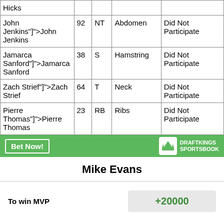| Player | # | Pos | Injury | Status |
| --- | --- | --- | --- | --- |
| Hicks |  |  |  |  |
| John Jenkins"]]">John Jenkins | 92 | NT | Abdomen | Did Not Participate |
| Jamarca Sanford"]]">Jamarca Sanford | 38 | S | Hamstring | Did Not Participate |
| Zach Strief"]]">Zach Strief | 64 | T | Neck | Did Not Participate |
| Pierre Thomas"]]">Pierre Thomas | 23 | RB | Ribs | Did Not Participate |
[Figure (other): DraftKings Sportsbook banner with Bet Now button and logo]
Mike Evans
| Bet | Odds |
| --- | --- |
| To win MVP | +20000 |